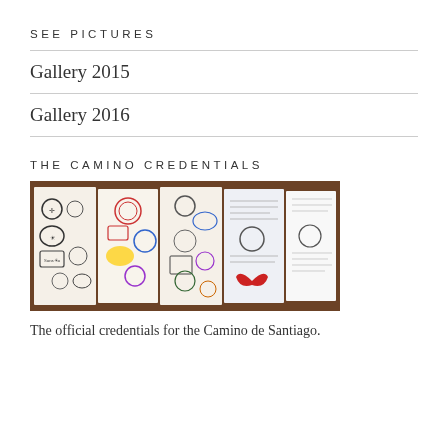SEE PICTURES
Gallery 2015
Gallery 2016
THE CAMINO CREDENTIALS
[Figure (photo): A Camino de Santiago pilgrim passport (credential) folded open showing multiple pages filled with various stamps and seals collected along the route. Stamps include crests, shells, butterflies, and other symbols in various colors including red, blue, purple, and yellow.]
The official credentials for the Camino de Santiago.